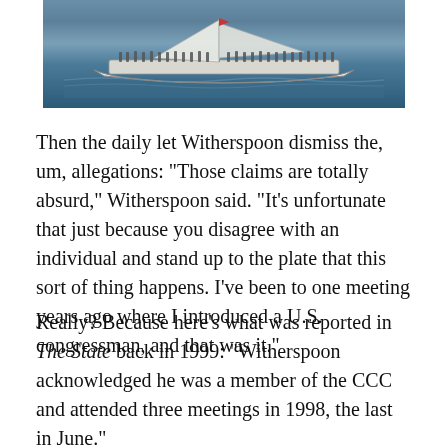[Figure (photo): A large sailboat crowded with passengers traveling on water, viewed from the side.]
Then the daily let Witherspoon dismiss the, um, allegations: “Those claims are totally absurd,” Witherspoon said. “It’s unfortunate that just because you disagree with an individual and stand up to the plate that this sort of thing happens. I’ve been to one meeting years ago where I introduced a U.S. congressman, and that was it.”
Really? Because here’s what was reported in The State back in 1999: “Witherspoon acknowledged he was a member of the CCC and attended three meetings in 1998, the last in June.”